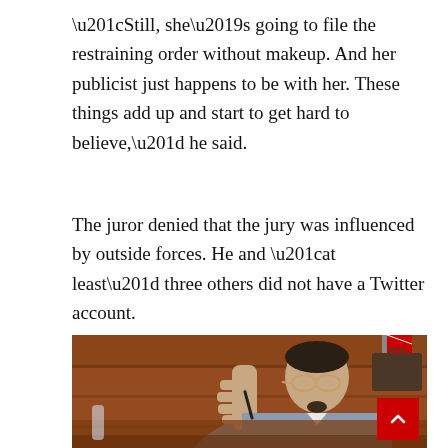“Still, she’s going to file the restraining order without makeup. And her publicist just happens to be with her. These things add up and start to get hard to believe,” he said.
The juror denied that the jury was influenced by outside forces. He and “at least” three others did not have a Twitter account.
[Figure (photo): A man in a grey suit with sunglasses raising his hand in a courtroom setting with wooden paneling visible in the background. A red back-to-top button is overlaid in the bottom right corner.]